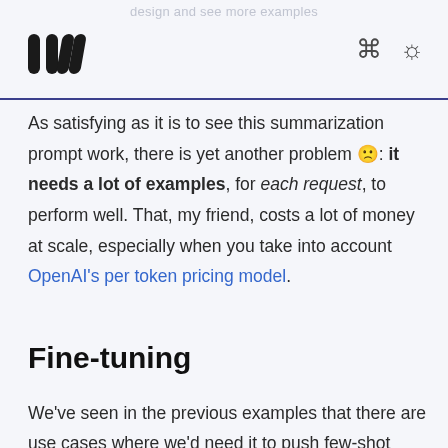design and see more examples
As satisfying as it is to see this summarization prompt work, there is yet another problem 🙁: it needs a lot of examples, for each request, to perform well. That, my friend, costs a lot of money at scale, especially when you take into account OpenAI's per token pricing model.
Fine-tuning
We've seen in the previous examples that there are use cases where we'd need it to push few-shot learning one